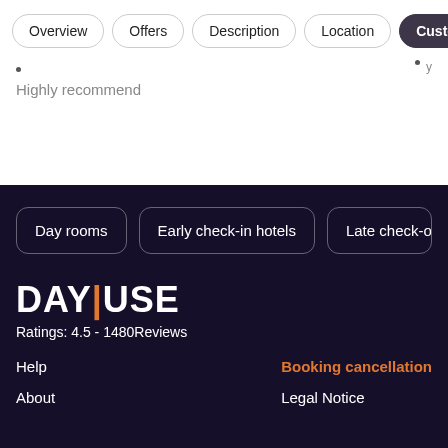Overview | Offers | Description | Location | Customer
· ·
Highly recommend
Day rooms
Early check-in hotels
Late check-o
DAYUSE
Ratings: 4.5 - 1480Reviews
Help
Booking cancellation
About
Legal Notice